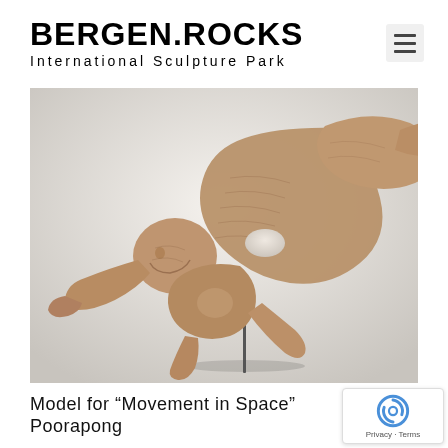BERGEN.ROCKS International Sculpture Park
[Figure (photo): A wooden sculpture of a human figure in a dynamic floating or flying pose, mounted on a thin metal rod. The figure appears to be leaning forward with arms and legs extended, carved in a naturalistic style showing textured wood grain. The sculpture is displayed against a white/light grey background.]
Model for “Movement in Space”
Poorapong